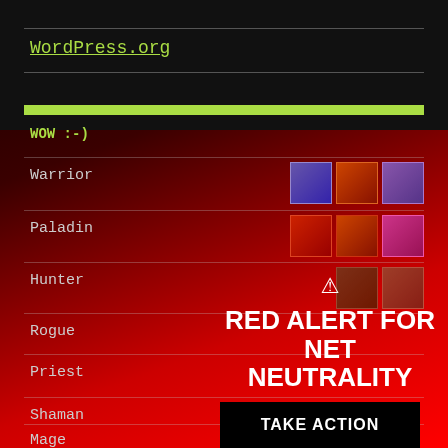WordPress.org
WOW :-)
Warrior
Paladin
Hunter
Rogue
Priest
Shaman
Mage
[Figure (infographic): Red Alert for Net Neutrality banner overlay with warning triangle icon, 'RED ALERT FOR NET NEUTRALITY' headline, 'TAKE ACTION' black button, and 'CLOSE' link. Displayed over a World of Warcraft class selection interface screenshot showing Warrior, Paladin, Hunter, Rogue, Priest, Shaman, Mage rows with class icons.]